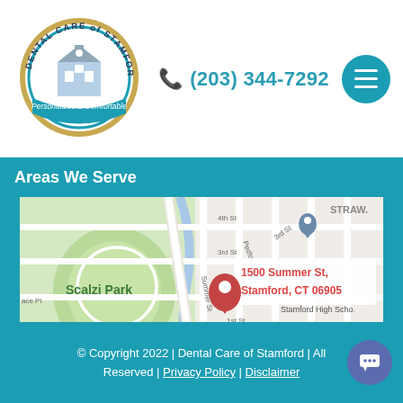[Figure (logo): Dental Care of Stamford logo — circular badge with building illustration and text 'Personalized & Comfortable']
(203) 344-7292
Areas We Serve
[Figure (map): Google Maps screenshot showing Scalzi Park area in Stamford, CT. Address pin at 1500 Summer St, Stamford, CT 06905. Nearby labels: Washington Blvd, 4th St, 3rd St, 1st St, Oak St, Morgan St, Court St, Stamford High School, nan Middle School, ace Pl, STRAW.]
© Copyright 2022 | Dental Care of Stamford | All Reserved | Privacy Policy | Disclaimer